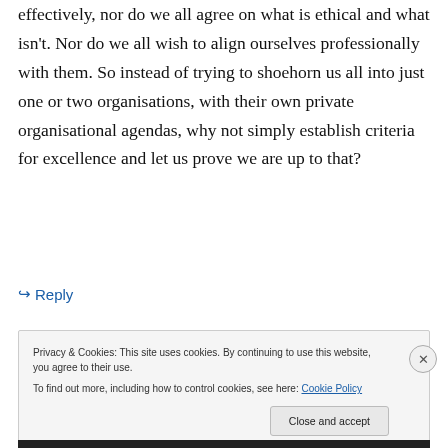effectively, nor do we all agree on what is ethical and what isn't. Nor do we all wish to align ourselves professionally with them. So instead of trying to shoehorn us all into just one or two organisations, with their own private organisational agendas, why not simply establish criteria for excellence and let us prove we are up to that?
↳ Reply
Privacy & Cookies: This site uses cookies. By continuing to use this website, you agree to their use.
To find out more, including how to control cookies, see here: Cookie Policy